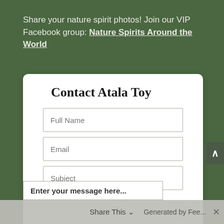Share your nature spirit photos! Join our VIP Facebook group: Nature Spirits Around the World
Contact Atala Toy
[Figure (screenshot): Contact form with fields: Full Name, Email, Subject, and a partially visible message field. Below is a share bar with 'Share This' text and 'Generated by Fee...' text with a close button.]